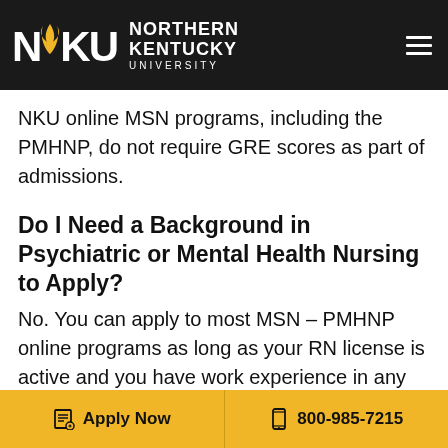NKU – Northern Kentucky University
NKU online MSN programs, including the PMHNP, do not require GRE scores as part of admissions.
Do I Need a Background in Psychiatric or Mental Health Nursing to Apply?
No. You can apply to most MSN – PMHNP online programs as long as your RN license is active and you have work experience in any area of nursing.
Apply Now   800-985-7215